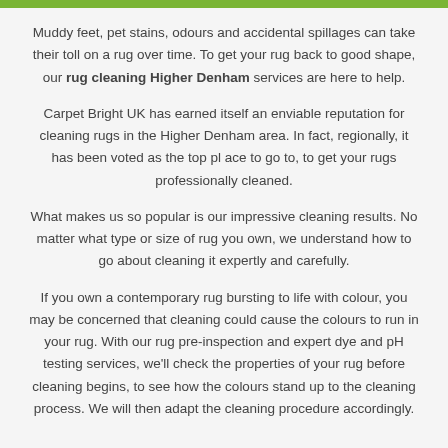Muddy feet, pet stains, odours and accidental spillages can take their toll on a rug over time. To get your rug back to good shape, our rug cleaning Higher Denham services are here to help.
Carpet Bright UK has earned itself an enviable reputation for cleaning rugs in the Higher Denham area. In fact, regionally, it has been voted as the top pl ace to go to, to get your rugs professionally cleaned.
What makes us so popular is our impressive cleaning results. No matter what type or size of rug you own, we understand how to go about cleaning it expertly and carefully.
If you own a contemporary rug bursting to life with colour, you may be concerned that cleaning could cause the colours to run in your rug. With our rug pre-inspection and expert dye and pH testing services, we'll check the properties of your rug before cleaning begins, to see how the colours stand up to the cleaning process. We will then adapt the cleaning procedure accordingly.